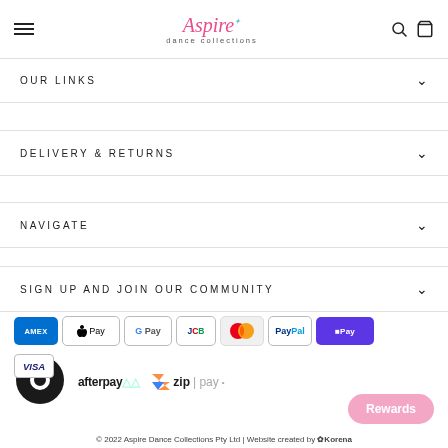Aspire dance collections — navigation header with hamburger, logo, search and cart icons
OUR LINKS
DELIVERY & RETURNS
NAVIGATE
SIGN UP AND JOIN OUR COMMUNITY
[Figure (logo): Payment method logos: American Express, Apple Pay, Google Pay, JCB, Mastercard, PayPal, Shop Pay, Visa, Afterpay, Zip Pay]
© 2022 Aspire Dance Collections Pty Ltd | Website created by Korena